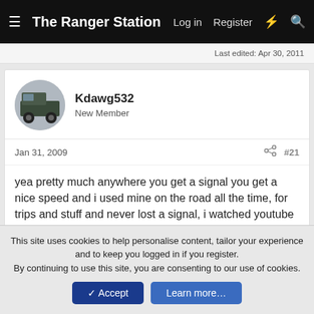The Ranger Station   Log in   Register
Last edited: Apr 30, 2011
Kdawg532
New Member
Jan 31, 2009   #21
yea pretty much anywhere you get a signal you get a nice speed and i used mine on the road all the time, for trips and stuff and never lost a signal, i watched youtube from the back of my moms van 🙂
88gt
New Member   RBV's on Boost
This site uses cookies to help personalise content, tailor your experience and to keep you logged in if you register.
By continuing to use this site, you are consenting to our use of cookies.